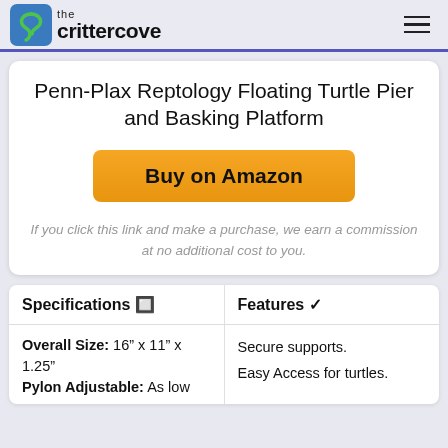the crittercove
Penn-Plax Reptology Floating Turtle Pier and Basking Platform
Buy on Amazon
If you click this link and make a purchase, we earn a commission at no additional cost to you.
| Specifications 🔲 | Features ✔ |
| --- | --- |
| Overall Size: 16" x 11" x 1.25"
Pylon Adjustable: As low | Secure supports.
Easy Access for turtles. |